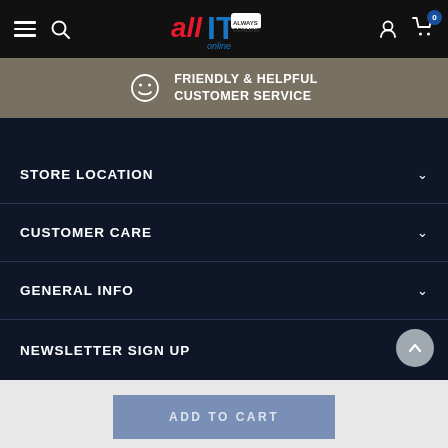[Figure (screenshot): allIT online e-commerce website header with hamburger menu, search icon, logo, user icon, and cart icon with badge showing 0]
FRIENDLY & HELPFUL CUSTOMER SERVICE
STORE LOCATION
CUSTOMER CARE
GENERAL INFO
NEWSLETTER SIGN UP
ADD TO CART